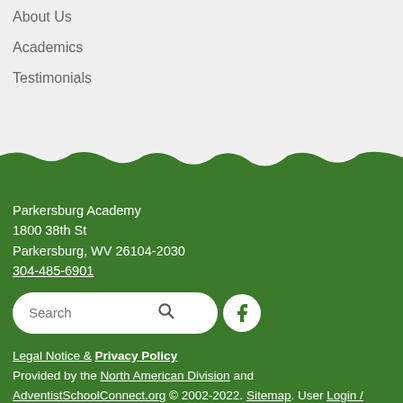About Us
Academics
Testimonials
Parkersburg Academy
1800 38th St
Parkersburg, WV 26104-2030
304-485-6901
Legal Notice & Privacy Policy
Provided by the North American Division and AdventistSchoolConnect.org © 2002-2022. Sitemap. User Login / Customize